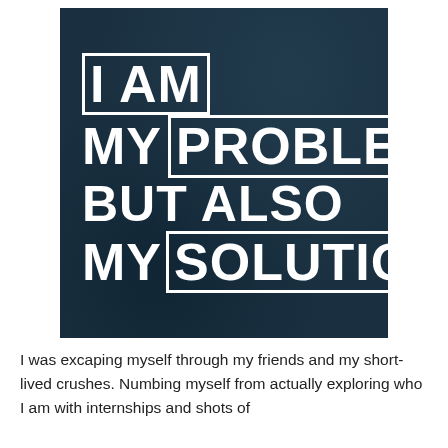[Figure (illustration): Dark teal/navy textured background with bold white uppercase text reading: I AM MY PROBLEM, BUT ALSO MY SOLUTION. The words 'I AM', 'PROBLEM', and 'SOLUTION' are enclosed in rectangular white border boxes.]
I was excaping myself through my friends and my short-lived crushes. Numbing myself from actually exploring who I am with internships and shots of